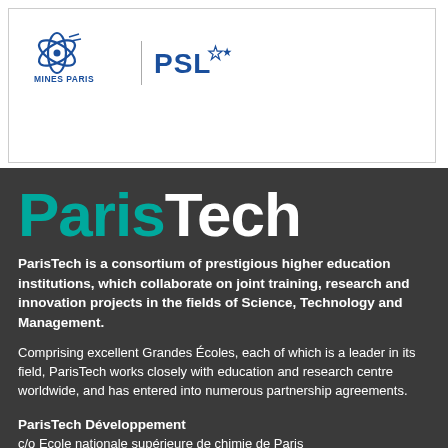[Figure (logo): Mines Paris PSL logo — orbital/compass icon with text MINES PARIS and PSL with star icon]
ParisTech
ParisTech is a consortium of prestigious higher education institutions, which collaborate on joint training, research and innovation projects in the fields of Science, Technology and Management.
Comprising excellent Grandes Écoles, each of which is a leader in its field, ParisTech works closely with education and research centre worldwide, and has entered into numerous partnership agreements.
ParisTech Développement
c/o Ecole nationale supérieure de chimie de Paris